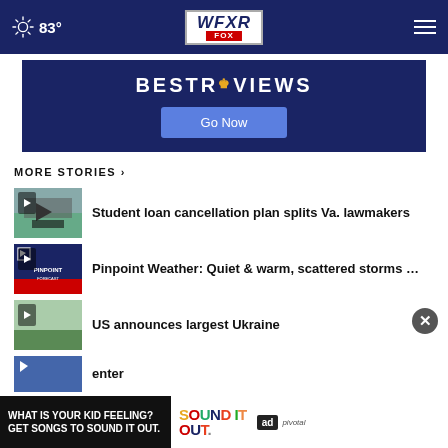83° WFXR FOX
[Figure (screenshot): BEST REVIEWS advertisement banner with Go Now button on dark blue background]
MORE STORIES ›
[Figure (photo): Thumbnail: graduation cap on money, play icon overlay]
Student loan cancellation plan splits Va. lawmakers
[Figure (screenshot): Thumbnail: Pinpoint Weather broadcast graphic, play icon overlay]
Pinpoint Weather: Quiet & warm, scattered storms …
[Figure (photo): Thumbnail: outdoor field scene, play icon overlay]
US announces largest Ukraine aid package
[Figure (screenshot): Bottom advertisement: WHAT IS YOUR KID FEELING? GET SONGS TO SOUND IT OUT. Sound It Out / Ad Council / Pivotal]
enter